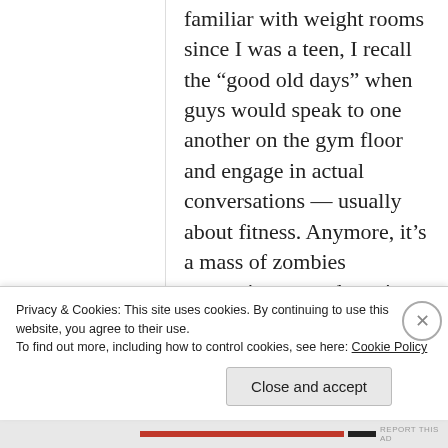familiar with weight rooms since I was a teen, I recall the “good old days” when guys would speak to one another on the gym floor and engage in actual conversations — usually about fitness. Anymore, it’s a mass of zombies staggering around, staring into a device, as a virtual substitute for person-to-person conversation.
Privacy & Cookies: This site uses cookies. By continuing to use this website, you agree to their use.
To find out more, including how to control cookies, see here: Cookie Policy